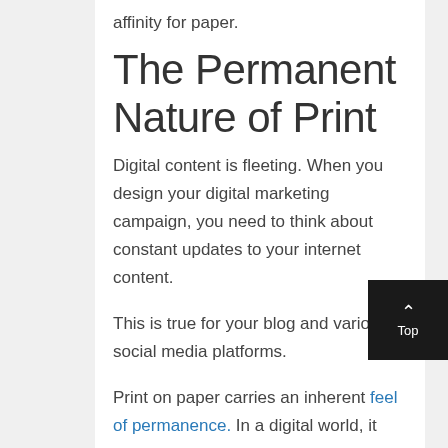affinity for paper.
The Permanent Nature of Print
Digital content is fleeting. When you design your digital marketing campaign, you need to think about constant updates to your internet content.
This is true for your blog and various social media platforms.
Print on paper carries an inherent feel of permanence. In a digital world, it can feel like information